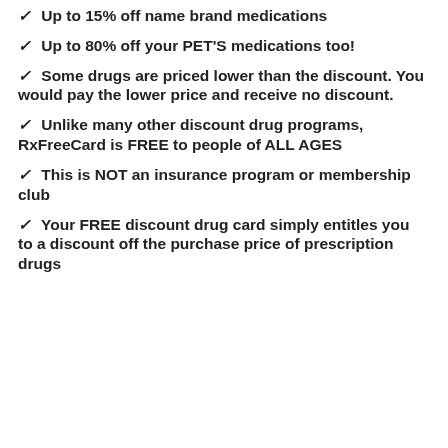Up to 15% off name brand medications
Up to 80% off your PET'S medications too!
Some drugs are priced lower than the discount. You would pay the lower price and receive no discount.
Unlike many other discount drug programs, RxFreeCard is FREE to people of ALL AGES
This is NOT an insurance program or membership club
Your FREE discount drug card simply entitles you to a discount off the purchase price of prescription drugs